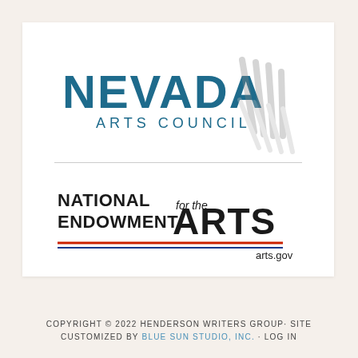[Figure (logo): Nevada Arts Council logo with bold blue 'NEVADA' text, smaller 'ARTS COUNCIL' text, and abstract gray brushstroke graphic to the right]
[Figure (logo): National Endowment for the Arts logo with 'NATIONAL ENDOWMENT for the ARTS' text in black, red and blue horizontal lines, and 'arts.gov' text]
COPYRIGHT © 2022 HENDERSON WRITERS GROUP· SITE CUSTOMIZED BY BLUE SUN STUDIO, INC. · LOG IN